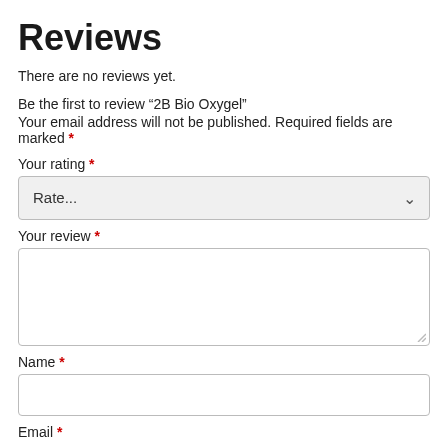Reviews
There are no reviews yet.
Be the first to review “2B Bio Oxygel”
Your email address will not be published. Required fields are marked *
Your rating *
Your review *
Name *
Email *